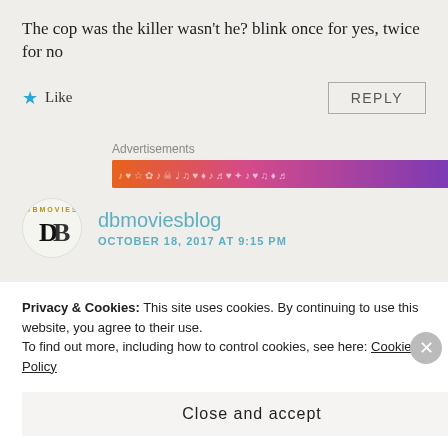The cop was the killer wasn't he? blink once for yes, twice for no
★ Like
REPLY
Advertisements
[Figure (illustration): Colorful gradient banner advertisement with music and skull icons, orange to purple gradient]
[Figure (logo): DBMovies circular logo with DB letters]
dbmoviesblog
OCTOBER 18, 2017 AT 9:15 PM
Privacy & Cookies: This site uses cookies. By continuing to use this website, you agree to their use.
To find out more, including how to control cookies, see here: Cookie Policy
Close and accept